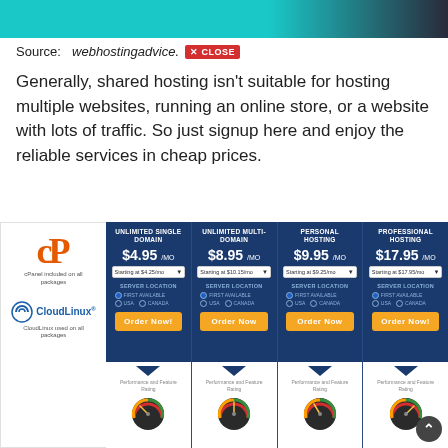[Figure (screenshot): Top teal and dark banner image]
Source: webhostingadvice. [CLOSE button]
Generally, shared hosting isn't suitable for hosting multiple websites, running an online store, or a website with lots of traffic. So just signup here and enjoy the reliable services in cheap prices.
[Figure (screenshot): Web hosting pricing comparison table with cPanel and CloudLinux logos on the left sidebar, and four hosting plan columns: Unlimited Single Domain $4.95/mo, Unlimited Multi-Domain $8.95/mo, Personal Hosting $9.95/mo, Professional Hosting $17.95/mo. Each column has server location options (USA/Canada) and an Order Now button. Below the dark header area are performance and feature rating gauges.]